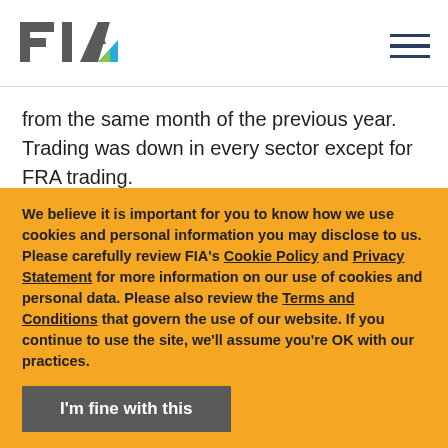FIA logo and navigation
from the same month of the previous year. Trading was down in every sector except for FRA trading.
Trading of interest rate swaps and other non-FRA rates products was $573.1 billion per day in April. This level was down 23.8% from March 2022 but up 27% from April 2021. FRA trading reached $196.6 billion in average daily trading in
We believe it is important for you to know how we use cookies and personal information you may disclose to us. Please carefully review FIA's Cookie Policy and Privacy Statement for more information on our use of cookies and personal data. Please also review the Terms and Conditions that govern the use of our website. If you continue to use the site, we'll assume you're OK with our practices.
I'm fine with this